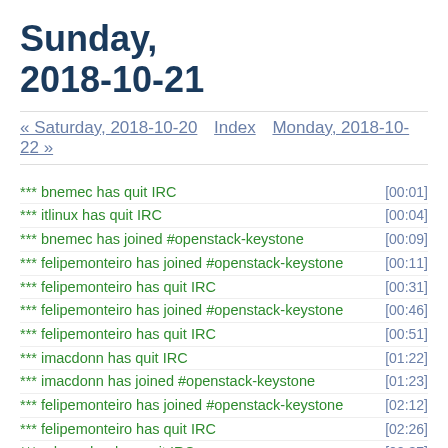Sunday, 2018-10-21
« Saturday, 2018-10-20    Index    Monday, 2018-10-22 »
*** bnemec has quit IRC [00:01]
*** itlinux has quit IRC [00:04]
*** bnemec has joined #openstack-keystone [00:09]
*** felipemonteiro has joined #openstack-keystone [00:11]
*** felipemonteiro has quit IRC [00:31]
*** felipemonteiro has joined #openstack-keystone [00:46]
*** felipemonteiro has quit IRC [00:51]
*** imacdonn has quit IRC [01:22]
*** imacdonn has joined #openstack-keystone [01:23]
*** felipemonteiro has joined #openstack-keystone [02:12]
*** felipemonteiro has quit IRC [02:26]
*** edmondsw has quit IRC [02:37]
*** felipemonteiro has joined #openstack-keystone [03:05]
*** felipemonteiro has quit IRC [03:21]
*** dave-mccowan has quit IRC [03:23]